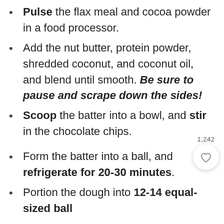Pulse the flax meal and cocoa powder in a food processor.
Add the nut butter, protein powder, shredded coconut, and coconut oil, and blend until smooth. Be sure to pause and scrape down the sides!
Scoop the batter into a bowl, and stir in the chocolate chips.
Form the batter into a ball, and refrigerate for 20-30 minutes.
Portion the dough into 12-14 equal-sized balls.
Roll the balls in coconut.
Freeze for 15-20 minutes right away. Then,